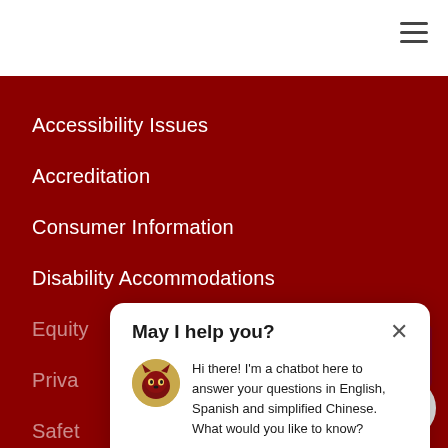≡
Accessibility Issues
Accreditation
Consumer Information
Disability Accommodations
Equity
Privacy
Safety
Sexual
Site In
[Figure (screenshot): Chatbot popup with header 'May I help you?' and an X close button. Body contains a panther mascot avatar and message: 'Hi there! I'm a chatbot here to answer your questions in English, Spanish and simplified Chinese. What would you like to know?']
[Figure (other): Scroll-to-top chevron button (dark red background, white up arrow)]
[Figure (other): Chat icon button (gray circle, chat bubble icon)]